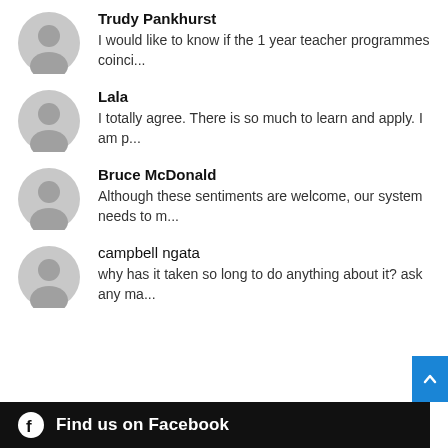Trudy Pankhurst
I would like to know if the 1 year teacher programmes coinci...
Lala
I totally agree. There is so much to learn and apply. I am p...
Bruce McDonald
Although these sentiments are welcome, our system needs to m...
campbell ngata
why has it taken so long to do anything about it? ask any ma...
Find us on Facebook